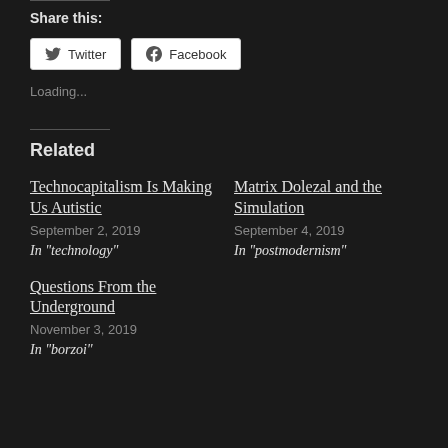Share this:
[Figure (screenshot): Twitter and Facebook share buttons]
Loading...
Related
Technocapitalism Is Making Us Autistic
September 2, 2019
In "technology"
Matrix Dolezal and the Simulation
September 4, 2019
In "postmodernism"
Questions From the Underground
November 3, 2019
In "borzoi"